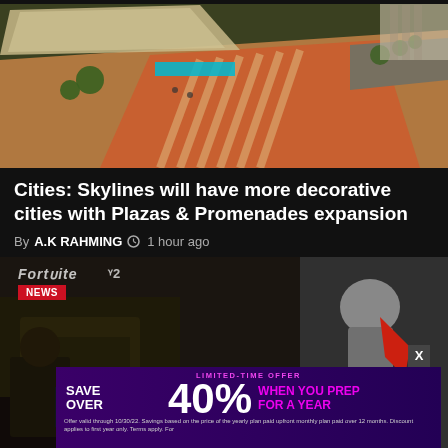[Figure (screenshot): Aerial/isometric view of a city plaza in Cities: Skylines video game, showing urban design with structures, walkways, and orange/red plaza surfaces with trees and a teal accent element]
Cities: Skylines will have more decorative cities with Plazas & Promenades expansion
By A.K RAHMING  1 hour ago
[Figure (screenshot): Video game screenshot showing armored characters, likely from Destiny 2 or similar game, with a NEWS badge overlay. An advertisement banner overlays the bottom portion reading: LIMITED-TIME OFFER SAVE OVER 40% WHEN YOU PREP FOR A YEAR. Offer valid through 10/30/22. Savings based on the price of the yearly plan paid upfront monthly plan paid over 12 months. Discount applies to first year only. Terms apply. For]